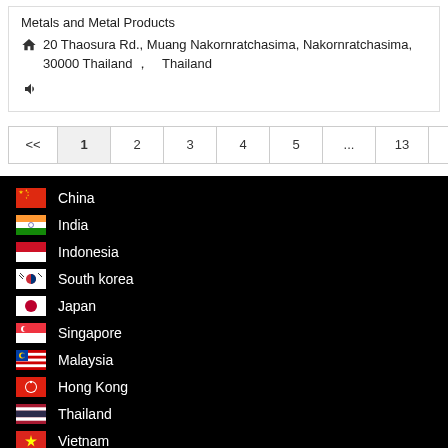Metals and Metal Products
20 Thaosura Rd., Muang Nakornratchasima, Nakornratchasima, 30000 Thailand , Thailand
< < 1 2 3 4 5 ... 13 14 >>
China
India
Indonesia
South korea
Japan
Singapore
Malaysia
Hong Kong
Thailand
Vietnam
Philippines
Taiwan
Pakistan